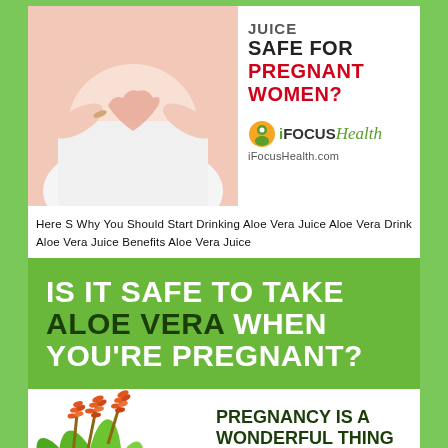[Figure (photo): Pregnant woman in white making heart shape with hands over belly, with text overlay: SAFE FOR PREGNANT WOMEN? and iFocusHealth logo and iFocusHealth.com]
Here S Why You Should Start Drinking Aloe Vera Juice Aloe Vera Drink Aloe Vera Juice Benefits Aloe Vera Juice
[Figure (infographic): Green banner with bold white and dark green text: IS IT SAFE TO TAKE ALOE VERA WHEN YOU'RE PREGNANT?]
[Figure (photo): Aloe vera plant with red/orange flowers on left side, with bold dark green text on right: PREGNANCY IS A WONDERFUL THING]